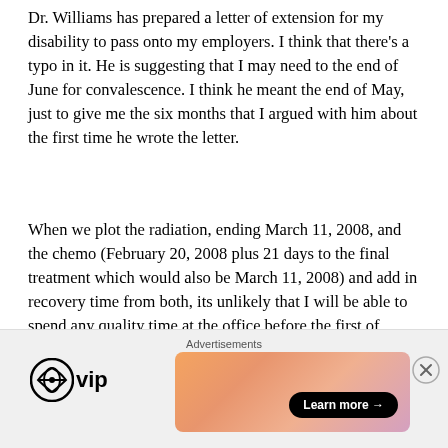Dr. Williams has prepared a letter of extension for my disability to pass onto my employers. I think that there's a typo in it. He is suggesting that I may need to the end of June for convalescence. I think he meant the end of May, just to give me the six months that I argued with him about the first time he wrote the letter.
When we plot the radiation, ending March 11, 2008, and the chemo (February 20, 2008 plus 21 days to the final treatment which would also be March 11, 2008) and add in recovery time from both, its unlikely that I will be able to spend any quality time at the office before the first of April.
I am now playing telephone tag with our HR department
[Figure (other): Advertisement bar with WordPress VIP logo on the left and a colorful gradient banner ad with 'Learn more →' button on the right. A close (X) button appears in the upper right.]